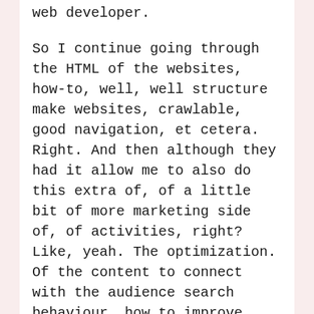web developer.
So I continue going through the HTML of the websites, how-to, well, well structure make websites, crawlable, good navigation, et cetera. Right. And then although they had it allow me to also do this extra of, of a little bit of more marketing side of, of activities, right? Like, yeah. The optimization. Of the content to connect with the audience search behaviour, how to improve conversion.
So, I think it was the blend that attracted me to SEO and well, I've never looked back realistically. I love it. Wonderful.